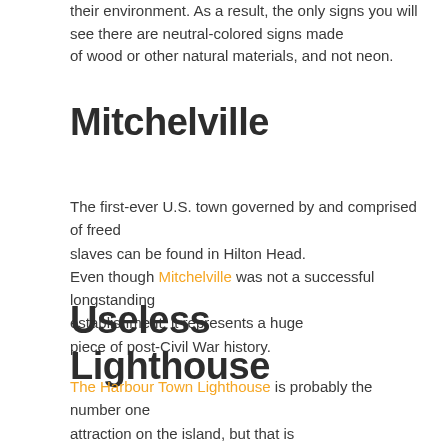their environment. As a result, the only signs you will see there are neutral-colored signs made of wood or other natural materials, and not neon.
Mitchelville
The first-ever U.S. town governed by and comprised of freed slaves can be found in Hilton Head. Even though Mitchelville was not a successful longstanding establishment, it represents a huge piece of post-Civil War history.
Useless Lighthouse
The Harbour Town Lighthouse is probably the number one attraction on the island, but that is all it's ever been. The privately-owned red-and-white striped lighthouse serves as a museum